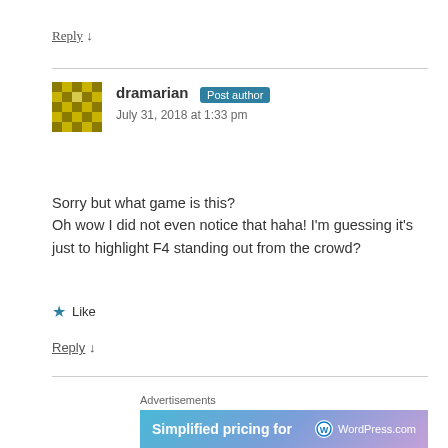Reply ↓
[Figure (illustration): Mosaic/pixel avatar for user dramarian in gold and brown colors]
dramarian Post author
July 31, 2018 at 1:33 pm
Sorry but what game is this?
Oh wow I did not even notice that haha! I'm guessing it's just to highlight F4 standing out from the crowd?
★ Like
Reply ↓
Advertisements
[Figure (screenshot): WordPress.com advertisement banner: Simplified pricing for — with WordPress.com logo on right, gradient blue-purple background]